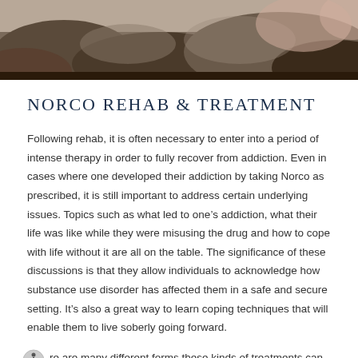[Figure (photo): Outdoor rocky landscape photo used as a hero/banner image at the top of the page]
NORCO REHAB & TREATMENT
Following rehab, it is often necessary to enter into a period of intense therapy in order to fully recover from addiction. Even in cases where one developed their addiction by taking Norco as prescribed, it is still important to address certain underlying issues. Topics such as what led to one's addiction, what their life was like while they were misusing the drug and how to cope with life without it are all on the table. The significance of these discussions is that they allow individuals to acknowledge how substance use disorder has affected them in a safe and secure setting. It's also a great way to learn coping techniques that will enable them to live soberly going forward.
re are many different forms these kinds of treatments can take.